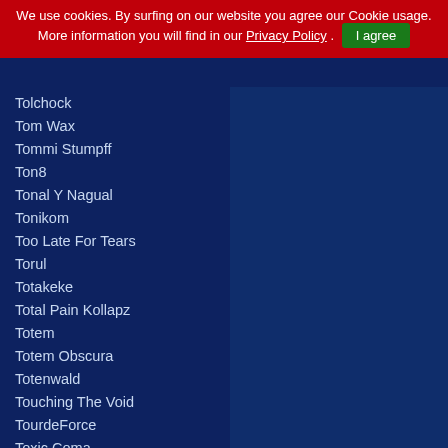We use cookies. By surfing on our website you agree our Cookie usage. More information you will find in our Privacy Policy . I agree
Tolchock
Tom Wax
Tommi Stumpff
Ton8
Tonal Y Nagual
Tonikom
Too Late For Tears
Torul
Totakeke
Total Pain Kollapz
Totem
Totem Obscura
Totenwald
Touching The Void
TourdeForce
Toxic Coma
toxic·N·blue
Trackologists
Trade Secrets
Tragedy Of Mine
Tragic Black
Tragic Impulse